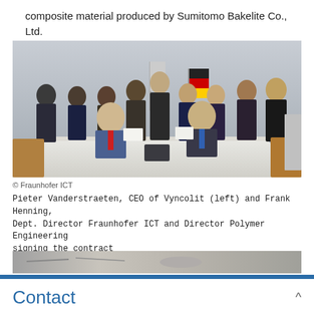composite material produced by Sumitomo Bakelite Co., Ltd.
[Figure (photo): Group photo of approximately 12 people in formal attire standing and sitting around a conference table with a German flag in the background. Two seated men in the foreground are holding signed documents.]
© Fraunhofer ICT
Pieter Vanderstraeten, CEO of Vyncolit (left) and Frank Henning, Dept. Director Fraunhofer ICT and Director Polymer Engineering signing the contract
[Figure (photo): Partial view of a second photo, mostly cut off at bottom of page.]
Contact